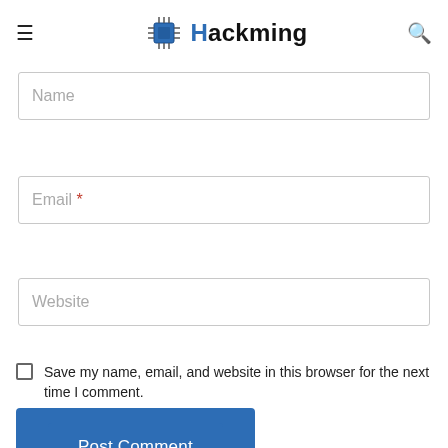Hackming
Name
Email *
Website
Save my name, email, and website in this browser for the next time I comment.
Post Comment